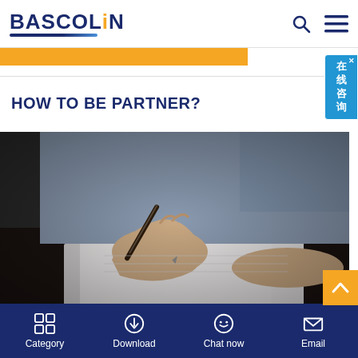BASCOLIN
HOW TO BE PARTNER?
[Figure (photo): Close-up of a person's hand signing a document with a pen on a desk, blurred background showing another person]
Category  Download  Chat now  Email